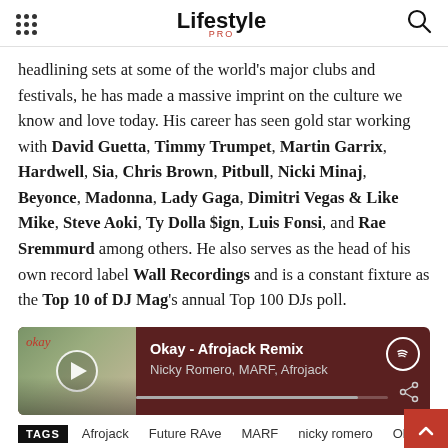Lifestyle PRO
headlining sets at some of the world's major clubs and festivals, he has made a massive imprint on the culture we know and love today. His career has seen gold star working with David Guetta, Timmy Trumpet, Martin Garrix, Hardwell, Sia, Chris Brown, Pitbull, Nicki Minaj, Beyonce, Madonna, Lady Gaga, Dimitri Vegas & Like Mike, Steve Aoki, Ty Dolla $ign, Luis Fonsi, and Rae Sremmurd among others. He also serves as the head of his own record label Wall Recordings and is a constant fixture as the Top 10 of DJ Mag's annual Top 100 DJs poll.
[Figure (screenshot): Spotify music widget showing 'Okay - Afrojack Remix' by Nicky Romero, MARF, Afrojack with album art, play button, progress bar and Spotify logo]
TAGS  Afrojack  Future RAve  MARF  nicky romero  Okay